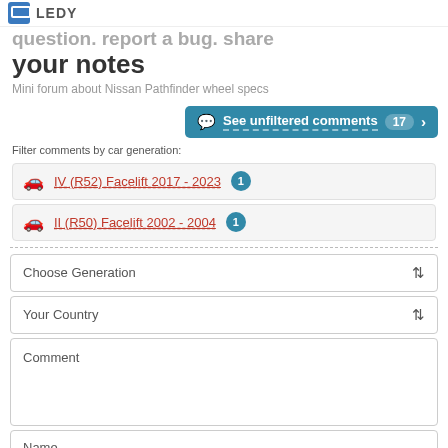LEDY
question. report a bug. share your notes
Mini forum about Nissan Pathfinder wheel specs
See unfiltered comments 17 >
Filter comments by car generation:
IV (R52) Facelift 2017 - 2023  1
II (R50) Facelift 2002 - 2004  1
Choose Generation
Your Country
Comment
Name